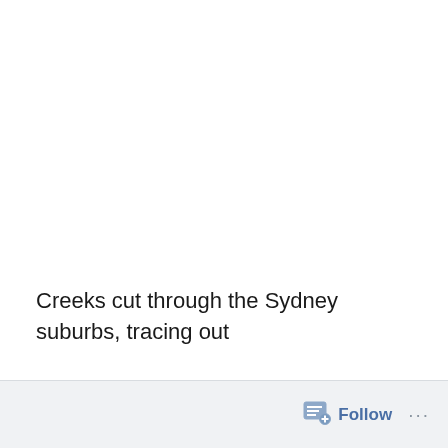Creeks cut through the Sydney suburbs, tracing out
Follow ...